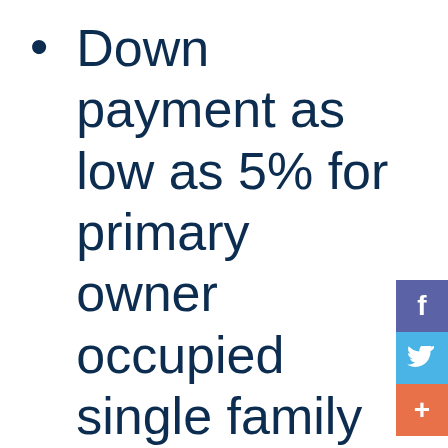Down payment as low as 5% for primary owner occupied single family